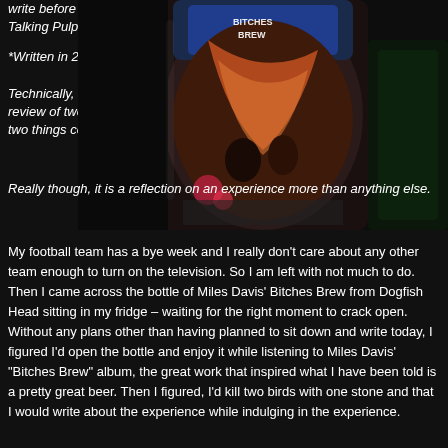write before Talking Pulp.
*Written in 2014.
Technically, I guess this could be considered a review of two things and not just that but how these two things come together. Really though, it is a reflection on an experience more than anything else.
[Figure (photo): Close-up photo of a bottle of Miles Davis' Bitches Brew beer from Dogfish Head, showing the colorful label with artwork, on a dark background]
My football team has a bye week and I really don't care about any other team enough to turn on the television. So I am left with not much to do. Then I came across the bottle of Miles Davis' Bitches Brew from Dogfish Head sitting in my fridge – waiting for the right moment to crack open. Without any plans other than having planned to sit down and write today, I figured I'd open the bottle and enjoy it while listening to Miles Davis' "Bitches Brew" album, the great work that inspired what I have been told is a pretty great beer. Then I figured, I'd kill two birds with one stone and that I would write about the experience while indulging in the experience.